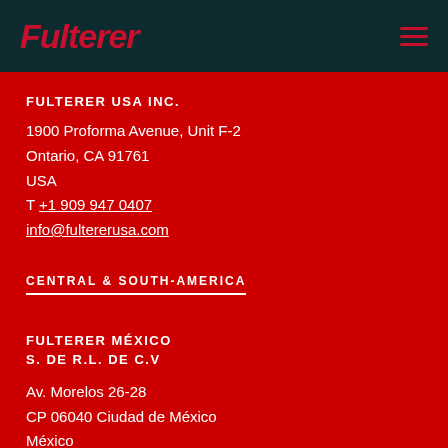[Figure (logo): Fulterer company logo in red italic text on dark teal header bar with hamburger menu icon]
FULTERER USA INC.
1900 Proforma Avenue, Unit F-2
Ontario, CA 91761
USA
T +1 909 947 0407
info@fultererusa.com
CENTRAL & SOUTH-AMERICA
FULTERER MÉXICO S. DE R.L. DE C.V
Av. Morelos 26-28
CP 06040 Ciudad de México
México
T +52 55 2345 3248